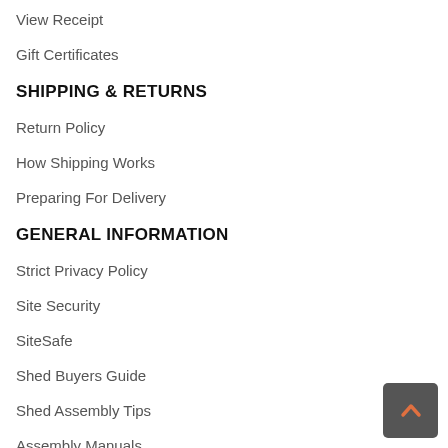View Receipt
Gift Certificates
SHIPPING & RETURNS
Return Policy
How Shipping Works
Preparing For Delivery
GENERAL INFORMATION
Strict Privacy Policy
Site Security
SiteSafe
Shed Buyers Guide
Shed Assembly Tips
Assembly Manuals
BUSINESS CENTER
Volume Discounts
Shed & Shelter Articles